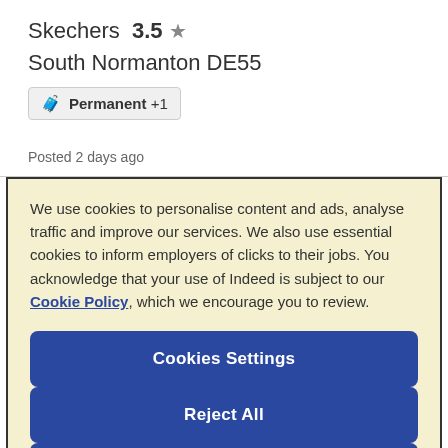Skechers  3.5 ★
South Normanton DE55
🧳 Permanent +1
Posted 2 days ago
We use cookies to personalise content and ads, analyse traffic and improve our services. We also use essential cookies to inform employers of clicks to their jobs. You acknowledge that your use of Indeed is subject to our Cookie Policy, which we encourage you to review.
Cookies Settings
Reject All
Accept All Cookies